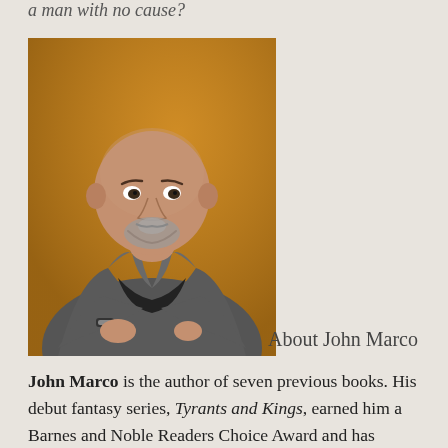a man with no cause?
[Figure (photo): Author photo of John Marco: a heavyset man with a shaved head and goatee, wearing a grey blazer over a black shirt, smiling, posed with arms crossed, against an amber/brown background.]
About John Marco
John Marco is the author of seven previous books. His debut fantasy series, Tyrants and Kings, earned him a Barnes and Noble Readers Choice Award and has